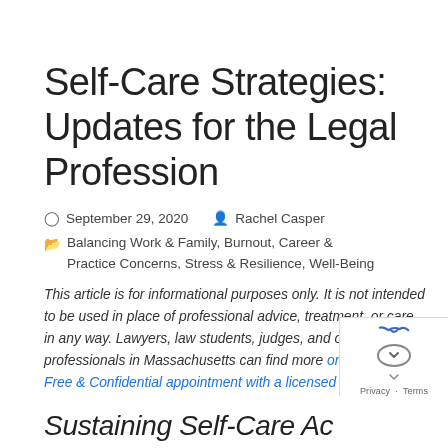Self-Care Strategies: Updates for the Legal Profession
September 29, 2020   Rachel Casper
Balancing Work & Family, Burnout, Career & Practice Concerns, Stress & Resilience, Well-Being
This article is for informational purposes only. It is not intended to be used in place of professional advice, treatment, or care in any way. Lawyers, law students, judges, and other legal professionals in Massachusetts can find more on scheduling a Free & Confidential appointment with a licensed clinician here.
Sustaining Self-Care Ac...